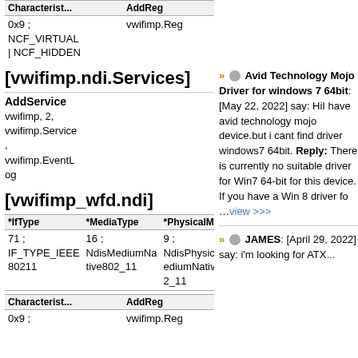| Characterist... | AddReg |
| --- | --- |
| 0x9 ;
NCF_VIRTUAL
| NCF_HIDDEN | vwifimp.Reg |
[vwifimp.ndi.Services]
AddService
vwifimp, 2, vwifimp.Service
,
vwifimp.EventLog
[vwifimp_wfd.ndi]
| *IfType | *MediaType | *PhysicalMe... |
| --- | --- | --- |
| 71 ;
IF_TYPE_IEEE80211 | 16 ;
NdisMediumNative802_11 | 9 ;
NdisPhysicalMediumNative802_11 |
| Characterist... | AddReg |
| --- | --- |
| 0x9 ; | vwifimp.Reg |
» Avid Technology Mojo Driver for windows 7 64bit: [May 22, 2022] say: HiI have avid technology mojo device.but i cant find driver windows7 64bit. Reply: There is currently no suitable driver for Win7 64-bit for this device. If you have a Win 8 driver fo ...view >>>
JAMES: [April 29, 2022] say: i'm looking for ATX ...